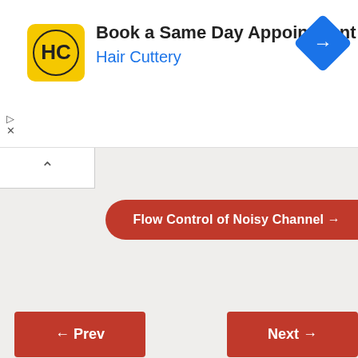[Figure (screenshot): Hair Cuttery advertisement banner with logo, title 'Book a Same Day Appointment', subtitle 'Hair Cuttery', and blue arrow direction icon on right]
Flow Control of Noisy Channel →
← Prev
Next →
Contact Us
Burewala, Vehari, Punjab, Pakistan
cstaleem1@gmail.com